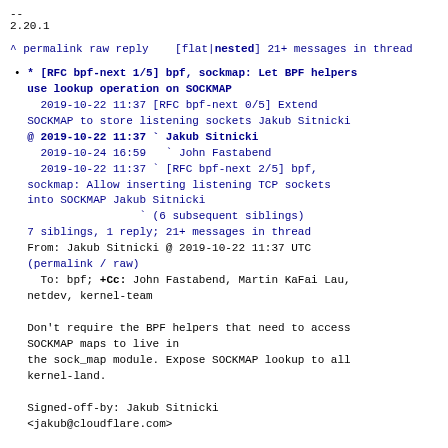--
2.20.1
^ permalink raw reply    [flat|nested] 21+ messages in thread
* [RFC bpf-next 1/5] bpf, sockmap: Let BPF helpers use lookup operation on SOCKMAP
2019-10-22 11:37 [RFC bpf-next 0/5] Extend SOCKMAP to store listening sockets Jakub Sitnicki
@ 2019-10-22 11:37 ` Jakub Sitnicki
  2019-10-24 16:59   ` John Fastabend
  2019-10-22 11:37 ` [RFC bpf-next 2/5] bpf, sockmap: Allow inserting listening TCP sockets into SOCKMAP Jakub Sitnicki
               ` (6 subsequent siblings)
  7 siblings, 1 reply; 21+ messages in thread
From: Jakub Sitnicki @ 2019-10-22 11:37 UTC
(permalink / raw)
  To: bpf; +Cc: John Fastabend, Martin KaFai Lau, netdev, kernel-team

Don't require the BPF helpers that need to access SOCKMAP maps to live in
the sock_map module. Expose SOCKMAP lookup to all kernel-land.

Signed-off-by: Jakub Sitnicki
<jakub@cloudflare.com>